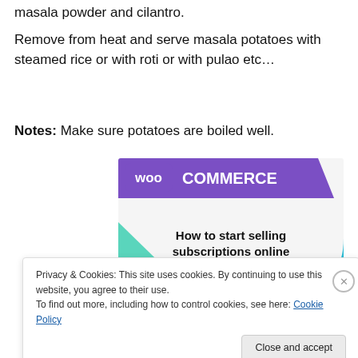masala powder and cilantro.
Remove from heat and serve masala potatoes with steamed rice or with roti or with pulao etc…
Notes: Make sure potatoes are boiled well.
[Figure (illustration): WooCommerce advertisement banner showing 'How to start selling subscriptions online' with purple header and teal/cyan geometric shapes]
Privacy & Cookies: This site uses cookies. By continuing to use this website, you agree to their use.
To find out more, including how to control cookies, see here: Cookie Policy
Close and accept